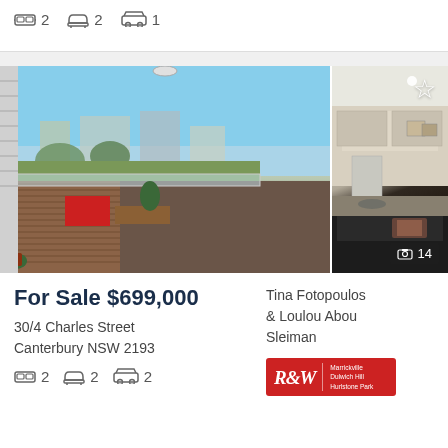2 bedrooms, 2 bathrooms, 1 car
[Figure (photo): Balcony and kitchen interior photos of property at 30/4 Charles Street Canterbury NSW]
For Sale $699,000
30/4 Charles Street
Canterbury NSW 2193
2 bedrooms, 2 bathrooms, 2 cars
Tina Fotopoulos & Loulou Abou Sleiman
[Figure (logo): R&W Richardson & Wrench logo - Marrickville Dulwich Hill Hurlstone Park]